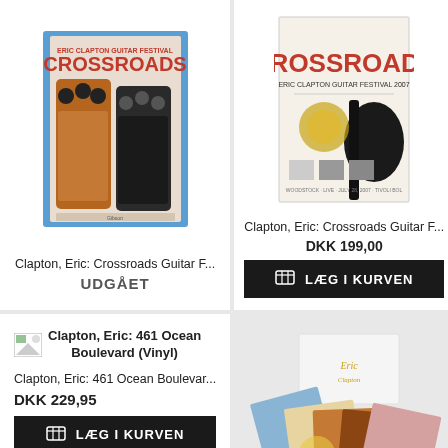[Figure (photo): Blu-ray cover of Eric Clapton Guitar Festival Crossroads - showing guitar headstocks]
Clapton, Eric: Crossroads Guitar F...
UDGÅET
[Figure (photo): DVD/album cover of Crossroads Eric Clapton Guitar Festival 2007 - cream colored background with black guitar]
Clapton, Eric: Crossroads Guitar F...
DKK 199,00
LÆG I KURVEN
[Figure (illustration): Small broken image icon placeholder]
Clapton, Eric: 461 Ocean Boulevard (Vinyl)
Clapton, Eric: 461 Ocean Boulevar...
DKK 229,95
LÆG I KURVEN
[Figure (photo): Box set of vinyl records with white outer box, multiple album covers fanned out]